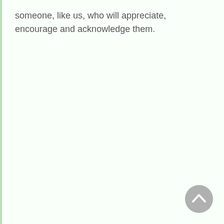someone, like us, who will appreciate, encourage and acknowledge them.
[Figure (other): A circular back-to-top button with a grey background and an upward-pointing chevron arrow icon, positioned in the bottom-right corner of the page.]